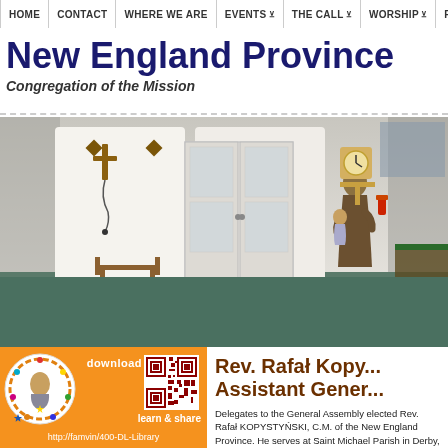HOME | CONTACT | WHERE WE ARE | EVENTS | THE CALL | WORSHIP | PO R
New England Province
Congregation of the Mission
[Figure (photo): Interior of a chapel with white walls, French doors, a crucifix, and a large statue of a saint holding a child, with a green altar cloth visible.]
[Figure (infographic): Orange download panel with a circular logo/emblem, QR code labeled 'download', 'learn & share' text, and URL http://famvin/400-DL-Library]
Rev. Rafał Kopy... Assistant Gener...
Delegates to the General Assembly elected Rev. Rafał KOPYSTYŃSKI, C.M. of the New England Province. He serves at Saint Michael Parish in Derby, Connecticut and is a member of the New England Province. Congratulatio...